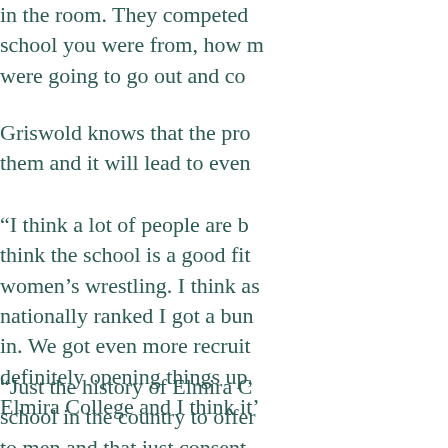in the room. They competed school you were from, how m were going to go out and co
Griswold knows that the pro them and it will lead to even
“I think a lot of people are b think the school is a good fit women’s wrestling. I think as nationally ranked I got a bun in. We got even more recruit definitely opening things up, Elmira College and I think it’
“Just the history of Elmira C school in the country to offer to men and that just consent academics. We have great c beautiful campus. We have a facility, so we have a lot of g have passionate, passionate support staff, administration